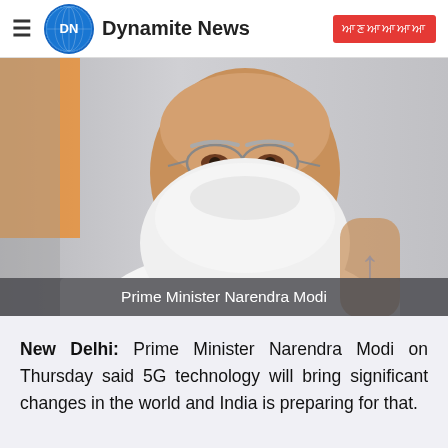Dynamite News
[Figure (photo): Close-up photo of Prime Minister Narendra Modi in white attire with white beard and glasses, with a blurred orange flag in background]
Prime Minister Narendra Modi
New Delhi: Prime Minister Narendra Modi on Thursday said 5G technology will bring significant changes in the world and India is preparing for that.